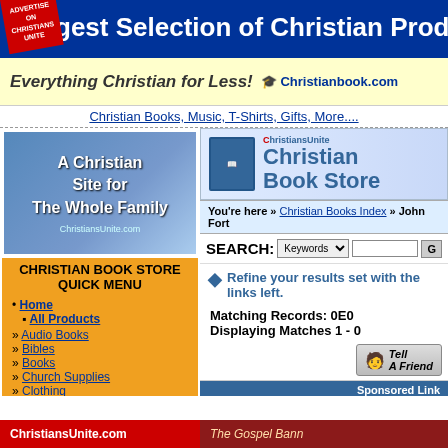gest Selection of Christian Products on the Web
[Figure (screenshot): Christianbook.com banner - Everything Christian for Less!]
Christian Books, Music, T-Shirts, Gifts, More....
[Figure (screenshot): ChristiansUnite.com - A Christian Site for The Whole Family]
CHRISTIAN BOOK STORE QUICK MENU
Home
All Products
Audio Books
Bibles
Books
Church Supplies
Clothing
Gifts
Homeschool
Kids
Music
Software
Spanish Products
Video / DVD
[Figure (screenshot): ChristiansUnite Christian Book Store header with mascot]
You're here » Christian Books Index » John Fort
SEARCH: Keywords [input] G
Refine your results set with the links left.
Matching Records: 0E0
Displaying Matches 1 - 0
Sponsored Link
Looking for a Bible? Find the ri
As God parted the Red Sea, what did Moses he
His cloak   His hand   His staff
ChristiansUnite.com   The Gospel Bann